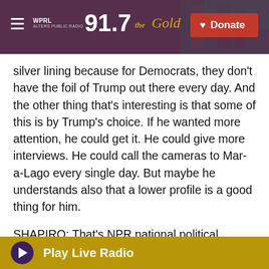[Figure (screenshot): WPRL 91.7 The Gold radio station header bar with purple/maroon background, hamburger menu, logo, and red Donate button]
silver lining because for Democrats, they don't have the foil of Trump out there every day. And the other thing that's interesting is that some of this is by Trump's choice. If he wanted more attention, he could get it. He could give more interviews. He could call the cameras to Mar-a-Lago every single day. But maybe he understands also that a lower profile is a good thing for him.
SHAPIRO: That's NPR national political correspondent Mara Liasson.
Thank you.
Play Live Radio